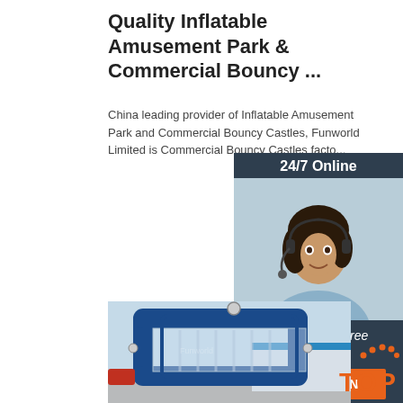Quality Inflatable Amusement Park & Commercial Bouncy ...
China leading provider of Inflatable Amusement Park and Commercial Bouncy Castles, Funworld Limited is Commercial Bouncy Castles facto...
[Figure (screenshot): Orange 'Get Price' button]
[Figure (photo): Customer service agent with headset, 24/7 Online chat widget with dark blue background, 'Click here for free chat!' text, and orange QUOTATION button]
[Figure (photo): Blue inflatable structure with clear transparent panels, outdoor product photo]
[Figure (logo): Red and orange TOP badge with dotted arc decoration]